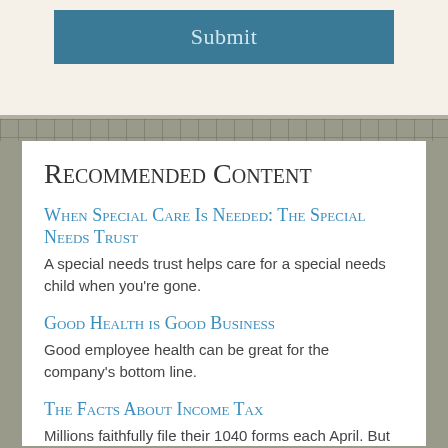Submit
Recommended Content
When Special Care Is Needed: The Special Needs Trust
A special needs trust helps care for a special needs child when you're gone.
Good Health is Good Business
Good employee health can be great for the company's bottom line.
The Facts About Income Tax
Millions faithfully file their 1040 forms each April. But some things about federal income taxes may surprise you.